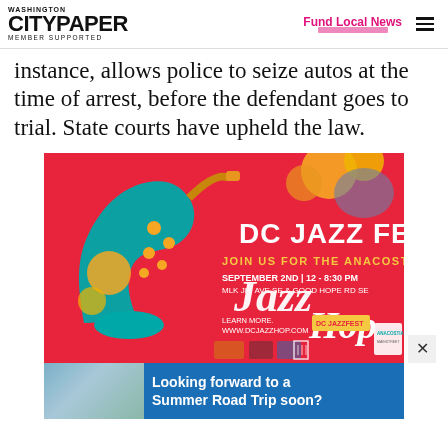Washington City Paper — MEMBER SUPPORTED | Fund Local News
instance, allows police to seize autos at the time of arrest, before the defendant goes to trial. State courts have upheld the law.
[Figure (illustration): DC Jazz Fest advertisement - red background with saxophone illustration, text reads DC JAZZ FEST, JOIN US FOR THE ANACOSTIA, Jazz Hop, SEPTEMBER 2ND | 12 - 8:30 PM, MLK JR. AVE SE & GOOD HOPE RD SE, LEARN MORE. WWW.DCJAZZHOP.COM]
[Figure (illustration): Looking forward to a Summer Road Trip soon? advertisement with blue background and family photo]